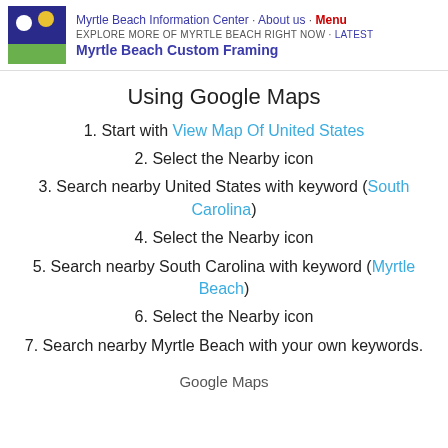Myrtle Beach Information Center · About us · Menu
EXPLORE MORE OF MYRTLE BEACH RIGHT NOW · Latest
Myrtle Beach Custom Framing
Using Google Maps
1. Start with View Map Of United States
2. Select the Nearby icon
3. Search nearby United States with keyword (South Carolina)
4. Select the Nearby icon
5. Search nearby South Carolina with keyword (Myrtle Beach)
6. Select the Nearby icon
7. Search nearby Myrtle Beach with your own keywords.
Google Maps